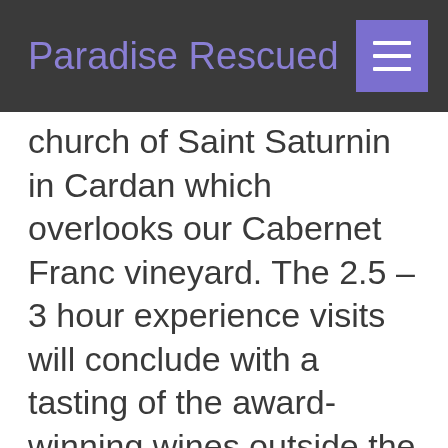Paradise Rescued
church of Saint Saturnin in Cardan which overlooks our Cabernet Franc vineyard. The 2.5 – 3 hour experience visits will conclude with a tasting of the award-winning wines outside the winery doors.